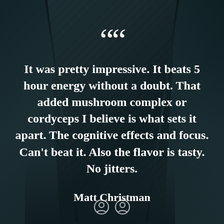[Figure (photo): Dark teal/slate textured background with diagonal panel shapes and accent lines, appearing to be close-up of dark equipment or panels]
““
It was pretty impressive. It beats 5 hour energy without a doubt. That added mushroom complex or cordyceps I believe is what sets it apart. The cognitive effects and focus. Can't beat it. Also the flavor is tasty. No jitters.
Matt Christman